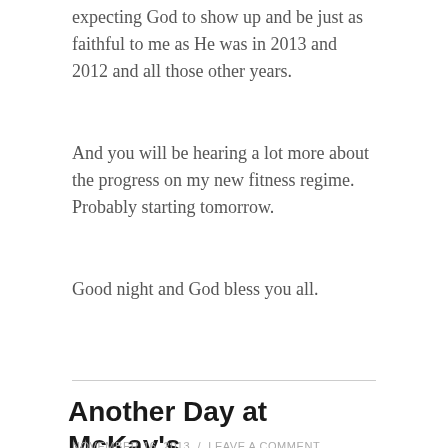expecting God to show up and be just as faithful to me as He was in 2013 and 2012 and all those other years.
And you will be hearing a lot more about the progress on my new fitness regime. Probably starting tomorrow.
Good night and God bless you all.
Another Day at McKay's
NOVEMBER 16, 2013 / LEAVE A COMMENT
[Figure (photo): Dark indoor photograph, partially visible, showing dim lighting with a blue glow and an orange/yellow strip at the bottom]